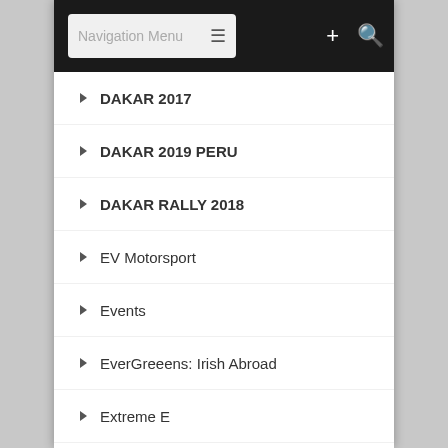Navigation Menu
DAKAR 2017
DAKAR 2019 PERU
DAKAR RALLY 2018
EV Motorsport
Events
EverGreeens: Irish Abroad
Extreme E
Forestry Rally
Formula 1
Hillclimb
IndyCar Series
Interview
Middle East Rally Championship
Morocco Rally